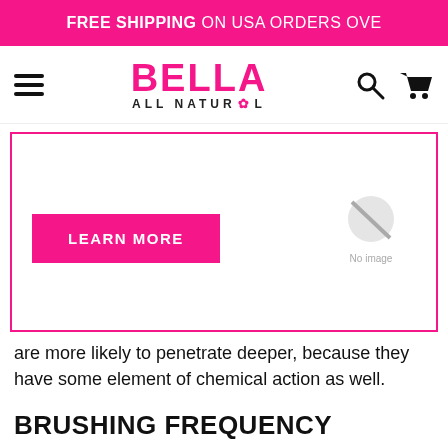FREE SHIPPING ON USA ORDERS OVE
[Figure (logo): Bella All Natural logo with pink text and flower icon, hamburger menu, search and cart icons]
[Figure (other): Banner box with pink border containing a LEARN MORE button and a no-image placeholder icon]
are more likely to penetrate deeper, because they have some element of chemical action as well.
BRUSHING FREQUENCY